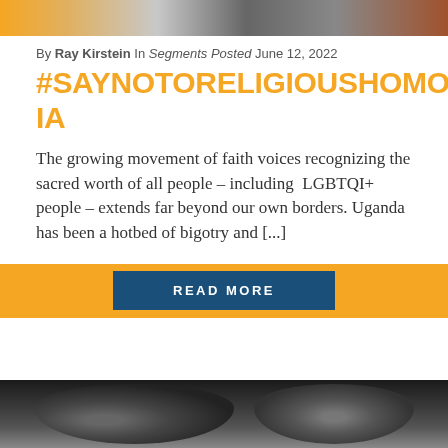[Figure (photo): Top cropped photo showing protest signs and people, partially visible]
By Ray Kirstein In Segments Posted June 12, 2022
#SAYNOTORELIGIOUSHOMOPHOBIA
The growing movement of faith voices recognizing the sacred worth of all people – including LGBTQI+ people – extends far beyond our own borders. Uganda has been a hotbed of bigotry and [...]
READ MORE
[Figure (photo): Bottom cropped black and white photo showing two older men's faces]